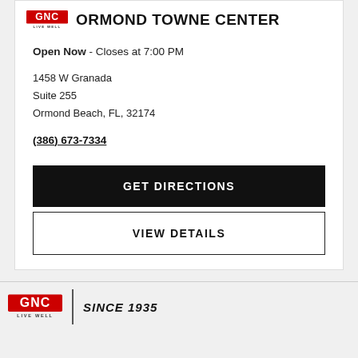GNC LIVE WELL – ORMOND TOWNE CENTER
Open Now - Closes at 7:00 PM
1458 W Granada
Suite 255
Ormond Beach, FL, 32174
(386) 673-7334
GET DIRECTIONS
VIEW DETAILS
[Figure (logo): GNC Live Well logo with SINCE 1935 tagline in footer]